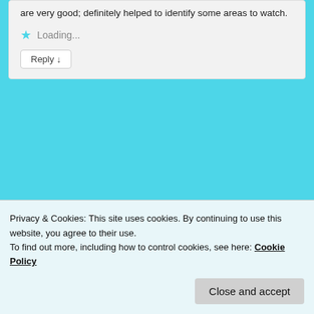are very good; definitely helped to identify some areas to watch.
Loading...
Reply ↓
[Figure (photo): Book or memorial cover image: National Memorial Cemetery of the Pacific]
Hugh on December 31, 2017 at 10:15 pm said:
Roberta:
Privacy & Cookies: This site uses cookies. By continuing to use this website, you agree to their use.
To find out more, including how to control cookies, see here: Cookie Policy
Close and accept
Loading...